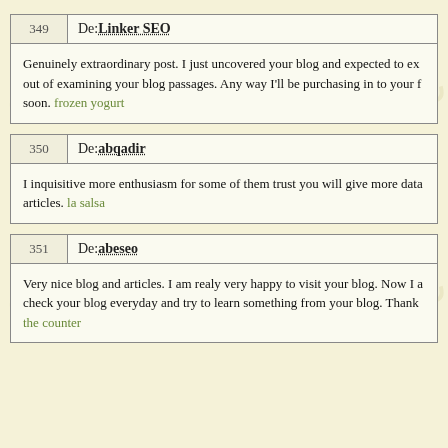| 349 | De: Linker SEO |
| --- | --- |
| Genuinely extraordinary post. I just uncovered your blog and expected to ex... out of examining your blog passages. Any way I'll be purchasing in to your f... soon. frozen yogurt |
| 350 | De: abqadir |
| --- | --- |
| I inquisitive more enthusiasm for some of them trust you will give more data... articles. la salsa |
| 351 | De: abeseo |
| --- | --- |
| Very nice blog and articles. I am realy very happy to visit your blog. Now I a... check your blog everyday and try to learn something from your blog. Thank... the counter |